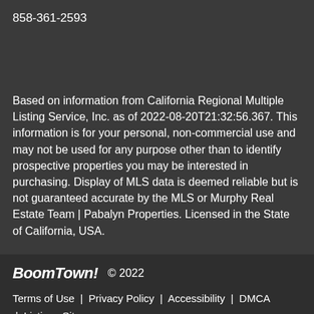858-361-2593
Based on information from California Regional Multiple Listing Service, Inc. as of 2022-08-20T21:32:56.367. This information is for your personal, non-commercial use and may not be used for any purpose other than to identify prospective properties you may be interested in purchasing. Display of MLS data is deemed reliable but is not guaranteed accurate by the MLS or Murphy Real Estate Team | Pabalyn Properties. Licensed in the State of California, USA.
BoomTown! © 2022
Terms of Use | Privacy Policy | Accessibility | DMCA | Listings Sitemap
Take a Tour
Ask A Question